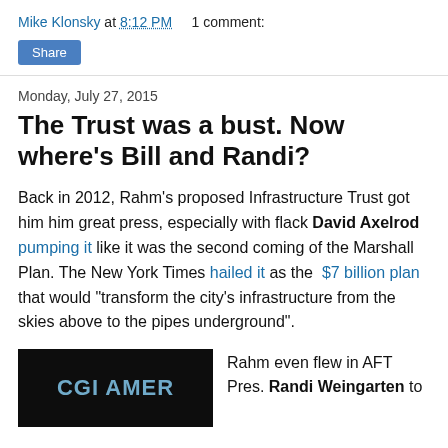Mike Klonsky at 8:12 PM   1 comment:
Share
Monday, July 27, 2015
The Trust was a bust. Now where's Bill and Randi?
Back in 2012, Rahm's proposed Infrastructure Trust got him him great press, especially with flack David Axelrod pumping it like it was the second coming of the Marshall Plan. The New York Times hailed it as the $7 billion plan  that would "transform the city's infrastructure from the skies above to the pipes underground".
[Figure (photo): Dark background photo showing 'CGI AMER' text in blue on what appears to be a conference backdrop]
Rahm even flew in AFT Pres. Randi Weingarten to